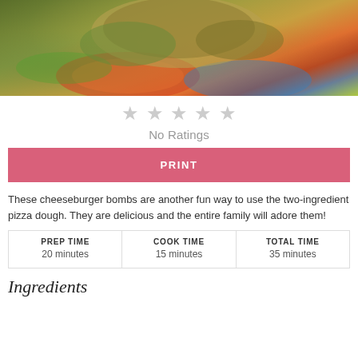[Figure (photo): Close-up photo of cheeseburger bombs on a colorful decorative plate]
★ ★ ★ ★ ★ (5 empty stars — No Ratings)
No Ratings
PRINT
These cheeseburger bombs are another fun way to use the two-ingredient pizza dough. They are delicious and the entire family will adore them!
| PREP TIME | COOK TIME | TOTAL TIME |
| --- | --- | --- |
| 20 minutes | 15 minutes | 35 minutes |
Ingredients